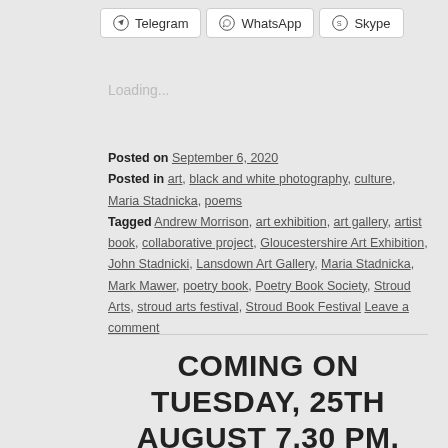[Figure (screenshot): Three share buttons: Telegram, WhatsApp, Skype]
Loading...
Posted on September 6, 2020
Posted in art, black and white photography, culture, Maria Stadnicka, poems
Tagged Andrew Morrison, art exhibition, art gallery, artist book, collaborative project, Gloucestershire Art Exhibition, John Stadnicki, Lansdown Art Gallery, Maria Stadnicka, Mark Mawer, poetry book, Poetry Book Society, Stroud Arts, stroud arts festival, Stroud Book Festival Leave a comment
COMING ON TUESDAY, 25TH AUGUST 7.30 PM, BRITISH ZOOM TIME
[Figure (photo): Partial image at bottom of page showing artwork and text 'There Will Be Singing']